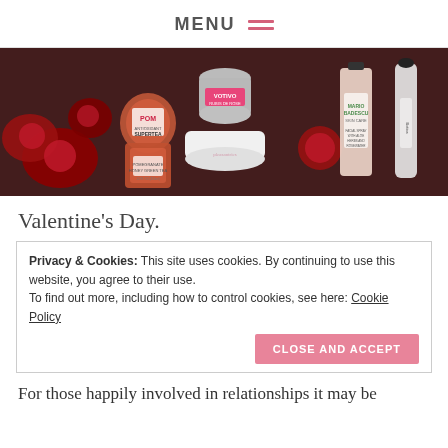MENU ☰
[Figure (photo): Flat lay photo of Valentine's Day gift products including POM Wonderful Antioxidant Super Tea bottles, Votivo candle tin, Mario Badescu skin care bottle, a roller bottle, and red roses arranged on a dark surface.]
Valentine's Day.
Privacy & Cookies: This site uses cookies. By continuing to use this website, you agree to their use.
To find out more, including how to control cookies, see here: Cookie Policy

CLOSE AND ACCEPT
For those happily involved in relationships it may be